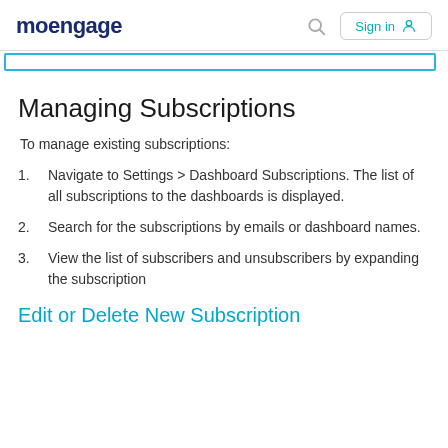moengage  Sign in
Managing Subscriptions
To manage existing subscriptions:
Navigate to Settings > Dashboard Subscriptions. The list of all subscriptions to the dashboards is displayed.
Search for the subscriptions by emails or dashboard names.
View the list of subscribers and unsubscribers by expanding the subscription
Edit or Delete New Subscription